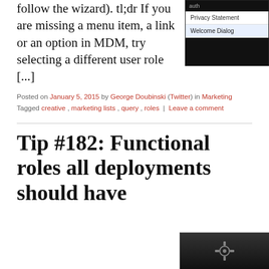follow the wizard). tl;dr If you are missing a menu item, a link or an option in MDM, try selecting a different user role [...]
[Figure (screenshot): Screenshot of a dropdown menu showing 'Privacy Statement' and 'Welcome Dialog' options with an auth label on dark background]
Posted on January 5, 2015 by George Doubinski (Twitter) in Marketing
Tagged creative, marketing lists, query, roles | Leave a comment
Tip #182: Functional roles all deployments should have
[Figure (screenshot): Partial screenshot at bottom right of page showing a dark image]